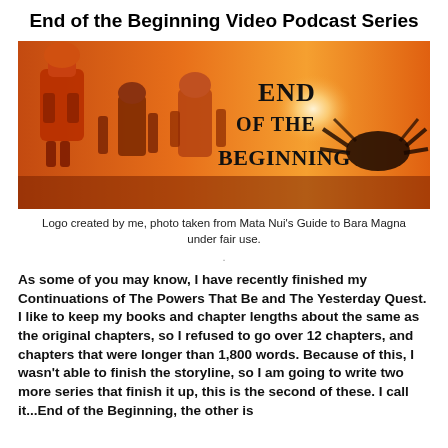End of the Beginning Video Podcast Series
[Figure (illustration): Banner image showing robotic/toy figures (Bionicle-style) silhouetted against an orange sunset background, with bold serif text reading 'End of the Beginning' overlaid on the right side.]
Logo created by me, photo taken from Mata Nui's Guide to Bara Magna under fair use.
As some of you may know, I have recently finished my Continuations of The Powers That Be and The Yesterday Quest. I like to keep my books and chapter lengths about the same as the original chapters, so I refused to go over 12 chapters, and chapters that were longer than 1,800 words. Because of this, I wasn't able to finish the storyline, so I am going to write two more series that finish it up, this is the second of these. I call it...End of the Beginning, the other is